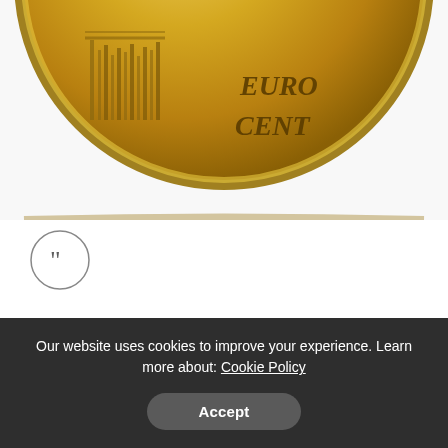[Figure (photo): Close-up photo of a Euro cent coin showing the architectural design and 'EURO CENT' text on the coin face, gold/brass colored, cropped to show lower half of coin.]
[Figure (illustration): Circular icon with closing double quotation marks (99) inside a thin circle, used as a decorative quote marker.]
The launch of the Eurozone's banking union should reverse some of the destruction in the banking system. The Eurozone also now has rescue funds and a central bank willing to backstop the financial system.
Our website uses cookies to improve your experience. Learn more about: Cookie Policy
Accept